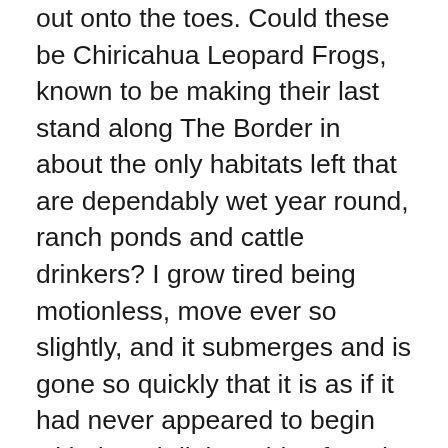out onto the toes. Could these be Chiricahua Leopard Frogs, known to be making their last stand along The Border in about the only habitats left that are dependably wet year round, ranch ponds and cattle drinkers? I grow tired being motionless, move ever so slightly, and it submerges and is gone so quickly that it is as if it had never appeared to begin with though little swirls of mud show something had indeed been there.
A dear mamma cow, Brindle, looks a little odd, isn't walking with the right rhythm, and while I try to divine if she has a problem or it's my imagination, an immature Cooper's Hawk hunts past us. Tom and I look over this herd later on, and find Brindle's entire left side collapsed and enlarged; neither one of us have seen anything like it, and fear she will be carried